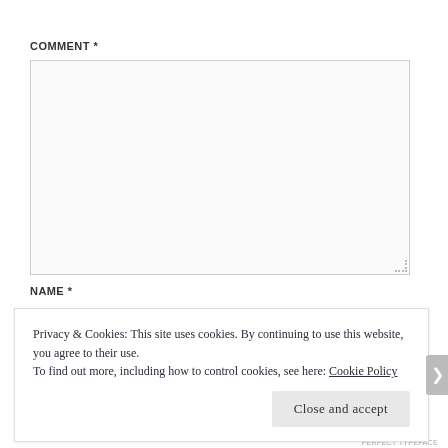COMMENT *
[Figure (other): Empty comment text area input box with resize handle at bottom right]
NAME *
Privacy & Cookies: This site uses cookies. By continuing to use this website, you agree to their use.
To find out more, including how to control cookies, see here: Cookie Policy
Close and accept
PERFECT TYPEFACE